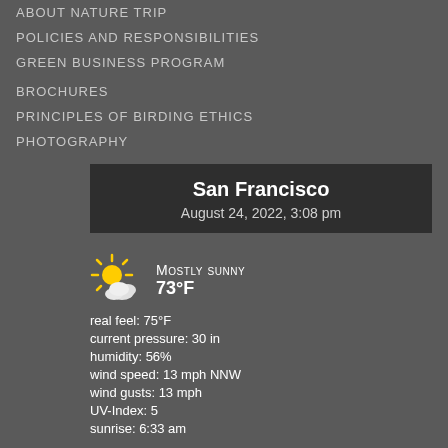ABOUT NATURE TRIP
POLICIES AND RESPONSIBILITIES
GREEN BUSINESS PROGRAM
BROCHURES
PRINCIPLES OF BIRDING ETHICS
PHOTOGRAPHY
[Figure (infographic): Weather widget for San Francisco showing August 24, 2022, 3:08 pm. Mostly sunny, 73°F. Real feel: 75°F, current pressure: 30 in, humidity: 56%, wind speed: 13 mph NNW, wind gusts: 13 mph, UV-Index: 5, sunrise: 6:33 am.]